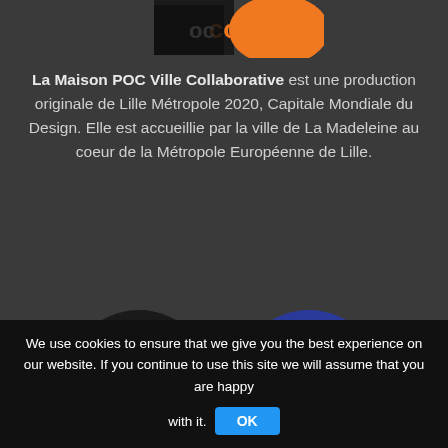[Figure (logo): Partial logo at top with orange and black colors, showing 'co' text fragment]
La Maison POC Ville Collaborative est une production originale de Lille Métropole 2020, Capitale Mondiale du Design. Elle est accueillie par la ville de La Madeleine au coeur de la Métropole Européenne de Lille.
[Figure (logo): Round black badge logo with text 'design is capital 2020 lille métropole' in white and red]
[Figure (logo): Round blue badge logo with text 'WORLD DESIGN CAPITAL LILLE METROPOLE 2020' with crosshair symbol]
We use cookies to ensure that we give you the best experience on our website. If you continue to use this site we will assume that you are happy with it. OK